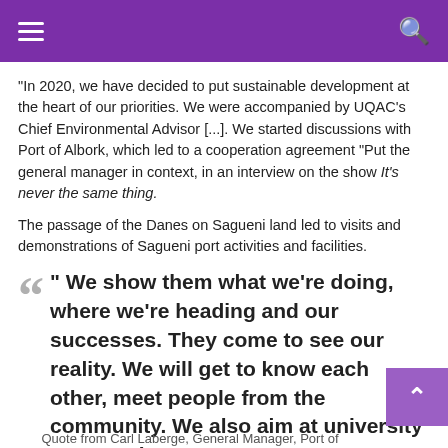Navigation menu and search
“In 2020, we have decided to put sustainable development at the heart of our priorities. We were accompanied by UQAC’s Chief Environmental Advisor [...]. We started discussions with Port of Albork, which led to a cooperation agreement “Put the general manager in context, in an interview on the show It’s never the same thing.
The passage of the Danes on Sagueni land led to visits and demonstrations of Sagueni port activities and facilities.
“ We show them what we’re doing, where we’re heading and our successes. They come to see our reality. We will get to know each other, meet people from the community. We also aim at university cooperation. »
Quote from Carl Laberge, General Manager, Port of...